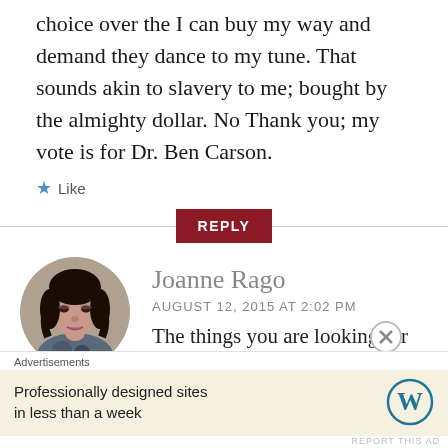choice over the I can buy my way and demand they dance to my tune. That sounds akin to slavery to me; bought by the almighty dollar. No Thank you; my vote is for Dr. Ben Carson.
★ Like
REPLY
Joanne Rago
AUGUST 12, 2015 AT 2:02 PM
The things you are looking for
Advertisements
Professionally designed sites in less than a week